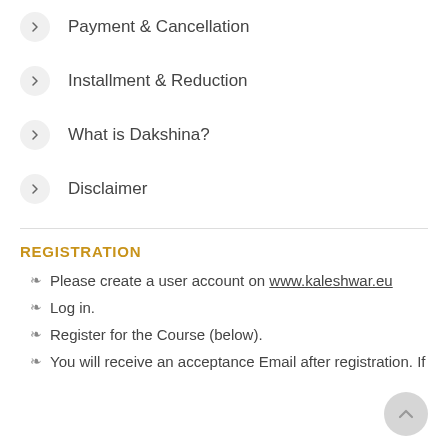Payment & Cancellation
Installment & Reduction
What is Dakshina?
Disclaimer
REGISTRATION
Please create a user account on www.kaleshwar.eu
Log in.
Register for the Course (below).
You will receive an acceptance Email after registration. If